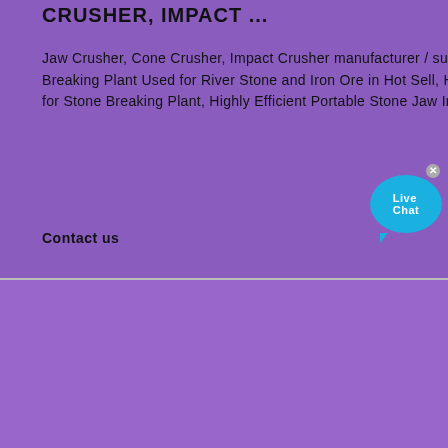CRUSHER, IMPACT ...
Jaw Crusher, Cone Crusher, Impact Crusher manufacturer / supplier in China, offering Hydraulic Cone Crusher Equipment Rock Breaking Plant Used for River Stone and Iron Ore in Hot Sell, Hard Stone Crusher/Stone Primary Crusher/Jaw Stone Crusher for Stone Breaking Plant, Highly Efficient Portable Stone Jaw Impact Cone Crusher Machine Mobile Crushing Plant and so on.
Contact us
[Figure (photo): Outdoor quarry scene with heavy crushing machinery equipment operating on sandy/rocky terrain]
[Figure (illustration): Small house/home icon in red and dark colors]